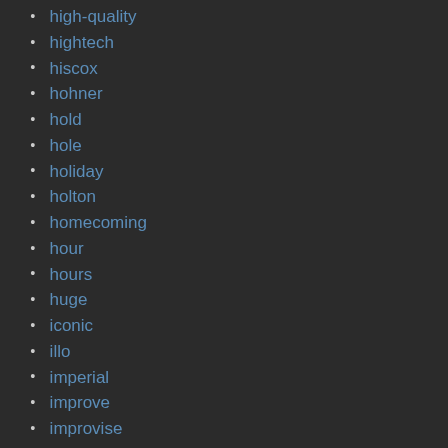high-quality
hightech
hiscox
hohner
hold
hole
holiday
holton
homecoming
hour
hours
huge
iconic
illo
imperial
improve
improvise
indiana
intermediate
intermusic
item4011sn
jazz
jean